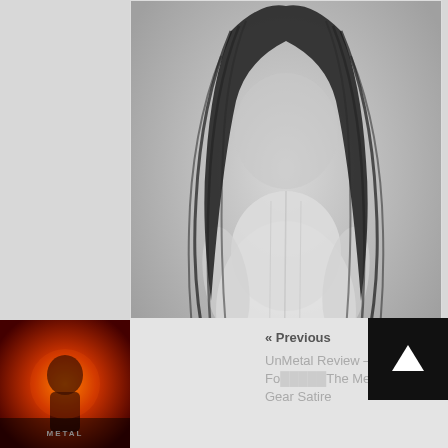[Figure (photo): Black and white photo of a ghostly figure with long dark hair covering the face, wearing a light-colored dress or robe, arms slightly extended]
Science Can Finally Somewhat Explain Why We See Ghosts
[Figure (photo): Thumbnail image for UnMetal Review article showing a dark red/orange dramatic scene]
« Previous
UnMetal Review – Jesse Fo... The Me... Gear Satire